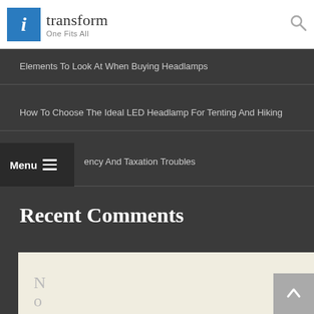i transform — One Fits All
Elements To Look At When Buying Headlamps
How To Choose The Ideal LED Headlamp For Tenting And Hiking
…ency And Taxation Troubles
Recent Comments
[Figure (screenshot): Beige comment section with stacked letters N O C O and a grey back-to-top arrow button]